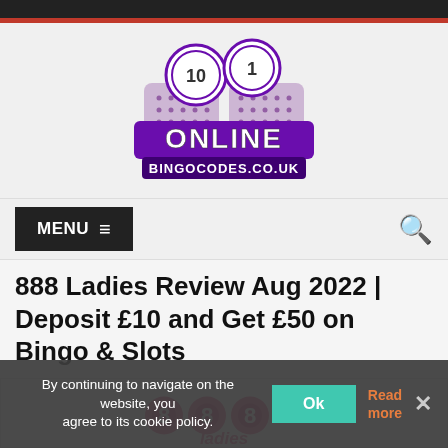[Figure (logo): OnlineBingoCodes.co.uk logo with bingo balls numbered 10 and 1, purple and black design]
MENU ☰ (search icon)
888 Ladies Review Aug 2022 | Deposit £10 and Get £50 on Bingo & Slots
[Figure (logo): 888 Ladies bingo site logo in pink, with star rating below (2 out of 5 stars shown)]
By continuing to navigate on the website, you agree to its cookie policy.